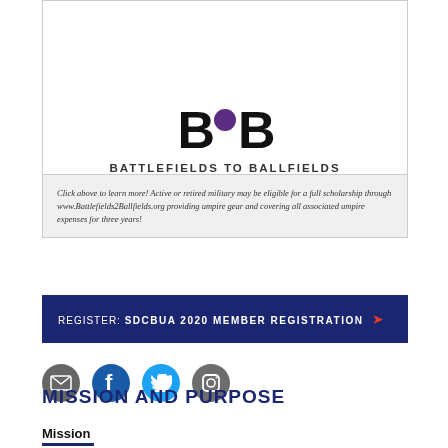[Figure (logo): Battlefields to Ballfields logo with stylized B2B text and purple circle, subtitle BATTLEFIELDS TO BALLFIELDS]
Click above to learn more! Active or retired military may be eligible for a full scholarship through www.Battlefields2Ballfields.org providing umpire gear and covering all associated umpire expenses for three years!
REGISTER: SDCBUA 2020 MEMBER REGISTRATION →
[Figure (other): Social media icons: email (gray), Facebook (blue), Twitter (cyan), Instagram (gray)]
MISSION AND PURPOSE
Mission